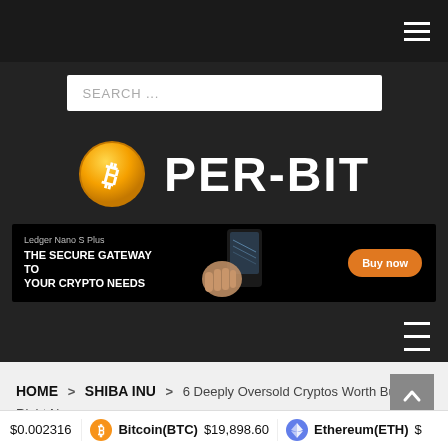≡ (hamburger menu)
SEARCH ...
[Figure (logo): PER-BIT logo with orange Bitcoin coin icon on left and PER-BIT text in white on right, on dark background]
[Figure (infographic): Ledger Nano S Plus advertisement banner: 'THE SECURE GATEWAY TO YOUR CRYPTO NEEDS' with device image and orange 'Buy now' button]
≡ (hamburger menu)
HOME > SHIBA INU > 6 Deeply Oversold Cryptos Worth Buying Right Now
$0.002316  Bitcoin(BTC) $19,898.60  Ethereum(ETH) $